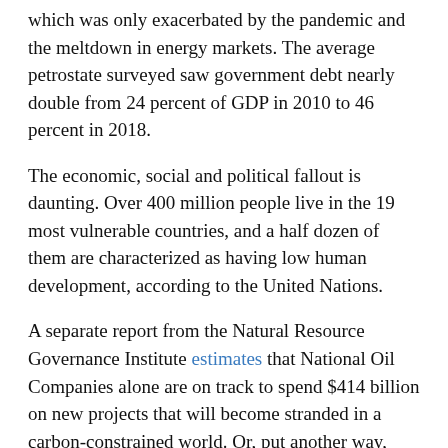which was only exacerbated by the pandemic and the meltdown in energy markets. The average petrostate surveyed saw government debt nearly double from 24 percent of GDP in 2010 to 46 percent in 2018.
The economic, social and political fallout is daunting. Over 400 million people live in the 19 most vulnerable countries, and a half dozen of them are characterized as having low human development, according to the United Nations.
A separate report from the Natural Resource Governance Institute estimates that National Oil Companies alone are on track to spend $414 billion on new projects that will become stranded in a carbon-constrained world. Or, put another way, they only pencil out if governments blow past climate targets.
An organized transition is necessary